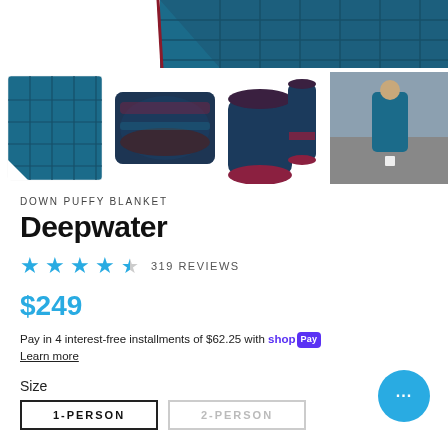[Figure (photo): Top portion of teal/blue down puffy blanket with quilted pattern, shown folded, partially visible at top of page]
[Figure (photo): Four product thumbnail images in a row: quilted blanket texture close-up, folded blanket, rolled blanket with red interior, person on road wearing blanket]
DOWN PUFFY BLANKET
Deepwater
★ ★ ★ ★ ☆ 319 REVIEWS
$249
Pay in 4 interest-free installments of $62.25 with Shop Pay
Learn more
Size
1-PERSON
2-PERSON